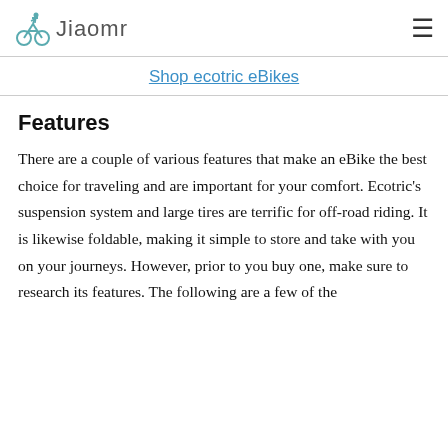Jiaomr
Shop ecotric eBikes
Features
There are a couple of various features that make an eBike the best choice for traveling and are important for your comfort. Ecotric’s suspension system and large tires are terrific for off-road riding. It is likewise foldable, making it simple to store and take with you on your journeys. However, prior to you buy one, make sure to research its features. The following are a few of the